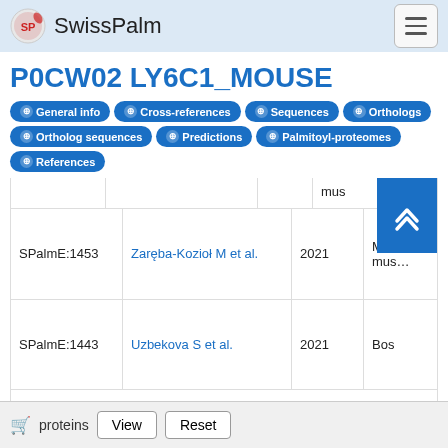SwissPalm
P0CW02 LY6C1_MOUSE
General info
Cross-references
Sequences
Orthologs
Ortholog sequences
Predictions
Palmitoyl-proteomes
References
| ID | Author | Year | Species |
| --- | --- | --- | --- |
| SPalmE:1453 | Zaręba-Kozioł M et al. | 2021 | Mus mus… |
| SPalmE:1443 | Uzbekova S et al. | 2021 | Bos… |